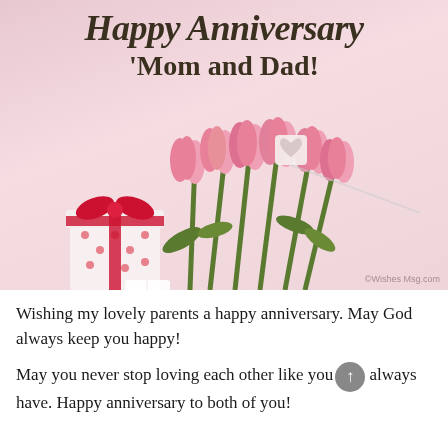[Figure (illustration): A greeting card image with pink background showing the text 'Happy Anniversary Mom and Dad!' in dark bold serif font, with pink tulips tied with a white heart decoration and a gift box wrapped in white paper with red heart pattern and red ribbon bow in the foreground.]
Wishing my lovely parents a happy anniversary. May God always keep you happy!
May you never stop loving each other like you always have. Happy anniversary to both of you!